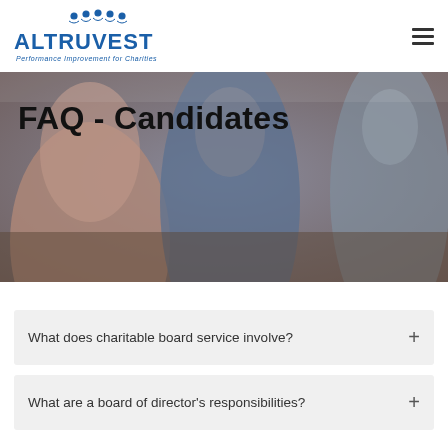ALTRUVEST Performance Improvement for Charities
[Figure (photo): Blurred photo of people seated around a meeting table, used as hero banner background]
FAQ - Candidates
What does charitable board service involve?
What are a board of director's responsibilities?